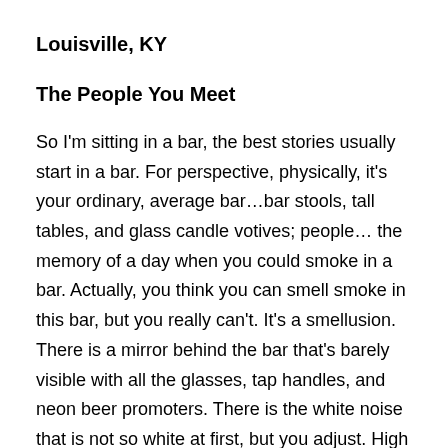Louisville, KY
The People You Meet
So I'm sitting in a bar, the best stories usually start in a bar. For perspective, physically, it's your ordinary, average bar…bar stools, tall tables, and glass candle votives; people… the memory of a day when you could smoke in a bar. Actually, you think you can smell smoke in this bar, but you really can't. It's a smellusion. There is a mirror behind the bar that's barely visible with all the glasses, tap handles, and neon beer promoters. There is the white noise that is not so white at first, but you adjust. High def TV – tonight we're watching basketball. The clinking of glasses, the sweet smell of spilled beer…and me.
I think every bar should have me, or at least a picture of